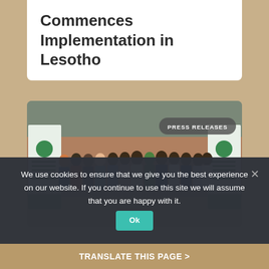Commences Implementation in Lesotho
[Figure (photo): Group photo of approximately 25 people standing in a row outdoors in front of a brick wall, with green and white roll-up banners on either side. A 'PRESS RELEASES' badge overlays the top-right of the image.]
We use cookies to ensure that we give you the best experience on our website. If you continue to use this site we will assume that you are happy with it.
TRANSLATE THIS PAGE >